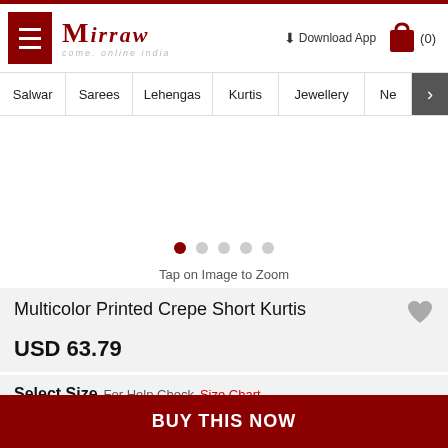Mirraw — come, online india | Download App | Cart (0)
Salwar | Sarees | Lehengas | Kurtis | Jewellery | Ne >
[Figure (other): Product image slider area (blank/white) with 5 pagination dots, first dot active (dark red), rest grey]
Tap on Image to Zoom
Multicolor Printed Crepe Short Kurtis
USD 63.79
Select Size   For Help Check  Size Chart
BUY THIS NOW